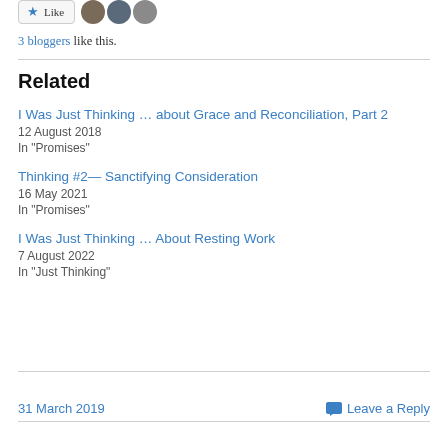3 bloggers like this.
Related
I Was Just Thinking … about Grace and Reconciliation, Part 2
12 August 2018
In "Promises"
Thinking #2— Sanctifying Consideration
16 May 2021
In "Promises"
I Was Just Thinking … About Resting Work
7 August 2022
In "Just Thinking"
31 March 2019
Leave a Reply